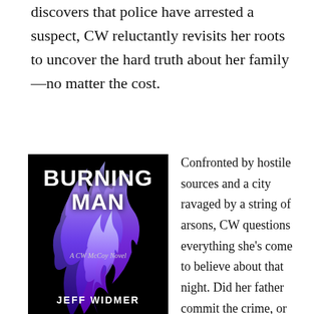discovers that police have arrested a suspect, CW reluctantly revisits her roots to uncover the hard truth about her family—no matter the cost.
[Figure (illustration): Book cover for 'Burning Man: A CW McCoy Novel' by Jeff Widmer. Black background with purple and blue flames. White bold text for title and author name.]
Confronted by hostile sources and a city ravaged by a string of arsons, CW questions everything she's come to believe about that night. Did her father commit the crime, or was he framed? Did he disappear, or was he